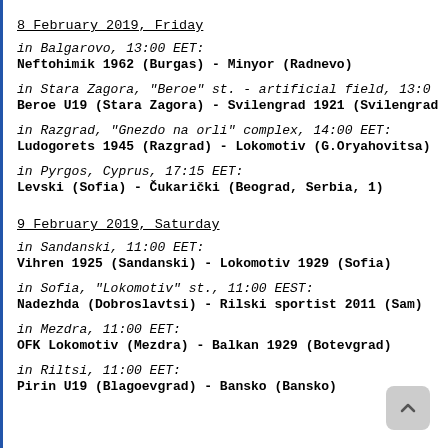8 February 2019, Friday
in Balgarovo, 13:00 EET:
Neftohimik 1962 (Burgas) - Minyor (Radnevo)
in Stara Zagora, "Beroe" st. - artificial field, 13:00
Beroe U19 (Stara Zagora) - Svilengrad 1921 (Svilengrad)
in Razgrad, "Gnezdo na orli" complex, 14:00 EET:
Ludogorets 1945 (Razgrad) - Lokomotiv (G.Oryahovitsa)
in Pyrgos, Cyprus, 17:15 EET:
Levski (Sofia) - Čukarički (Beograd, Serbia, 1)
9 February 2019, Saturday
in Sandanski, 11:00 EET:
Vihren 1925 (Sandanski) - Lokomotiv 1929 (Sofia)
in Sofia, "Lokomotiv" st., 11:00 EEST:
Nadezhda (Dobroslavtsi) - Rilski sportist 2011 (Sam)
in Mezdra, 11:00 EET:
OFK Lokomotiv (Mezdra) - Balkan 1929 (Botevgrad)
in Riltsi, 11:00 EET:
Pirin U19 (Blagoevgrad) - Bansko (Bansko)